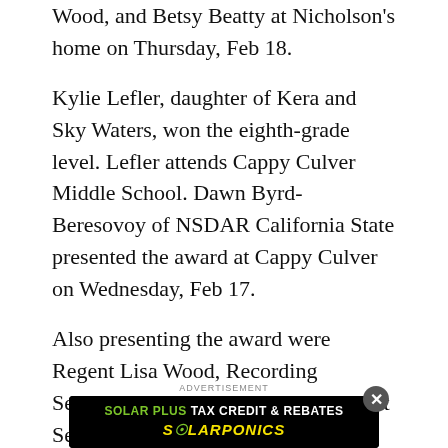Wood, and Betsy Beatty at Nicholson's home on Thursday, Feb 18.
Kylie Lefler, daughter of Kera and Sky Waters, won the eighth-grade level. Lefler attends Cappy Culver Middle School. Dawn Byrd-Beresovoy of NSDAR California State presented the award at Cappy Culver on Wednesday, Feb 17.
Also presenting the award were Regent Lisa Wood, Recording Secretary Linda Wood, Correspondent Secretary Sharon Wilson, Parliamentarian and Registrar Betsy Beatty
[Figure (other): Advertisement banner overlay: 'SOLAR PLUS TAX CREDIT & REBATES' with SOLARPONICS logo in yellow italic text on black background, with close button (x)]